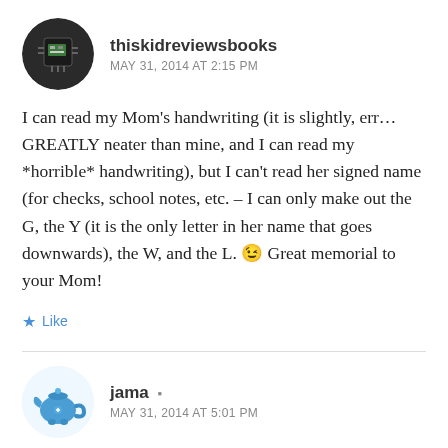[Figure (illustration): Circular avatar image of thiskidreviewsbooks user, showing a circuit board or electronic component on dark background]
thiskidreviewsbooks
MAY 31, 2014 AT 2:15 PM
I can read my Mom’s handwriting (it is slightly, err… GREATLY neater than mine, and I can read my *horrible* handwriting), but I can’t read her signed name (for checks, school notes, etc. – I can only make out the G, the Y (it is the only letter in her name that goes downwards), the W, and the L. 😉 Great memorial to your Mom!
★ Like
[Figure (illustration): Circular avatar image of jama user, showing a blue cartoon teapot character]
jama
MAY 31, 2014 AT 5:01 PM